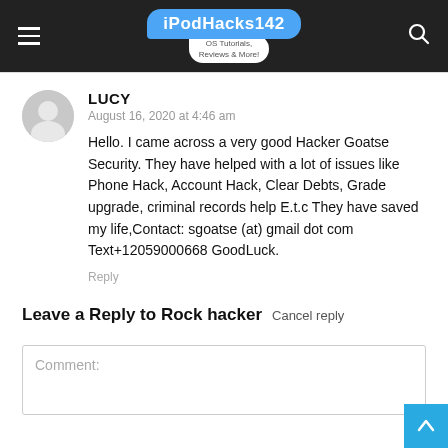iPodHacks142 OS Tutorials, Reviews & More!
LUCY
August 16, 2020 at 4:46 am
Hello. I came across a very good Hacker Goatse Security. They have helped with a lot of issues like Phone Hack, Account Hack, Clear Debts, Grade upgrade, criminal records help E.t.c They have saved my life,Contact: sgoatse (at) gmail dot com Text+12059000668 GoodLuck.
Reply
Leave a Reply to Rock hacker  Cancel reply
Comment: